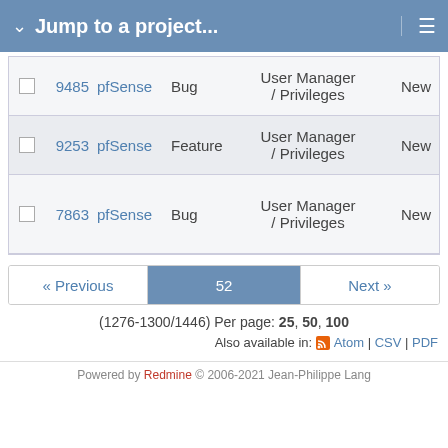Jump to a project...
|  | # | Project | Type | Category | Status |
| --- | --- | --- | --- | --- | --- |
|  | 9485 | pfSense | Bug | User Manager / Privileges | New |
|  | 9253 | pfSense | Feature | User Manager / Privileges | New |
|  | 7863 | pfSense | Bug | User Manager / Privileges | New |
« Previous  52  Next »
(1276-1300/1446) Per page: 25, 50, 100
Also available in: Atom | CSV | PDF
Powered by Redmine © 2006-2021 Jean-Philippe Lang